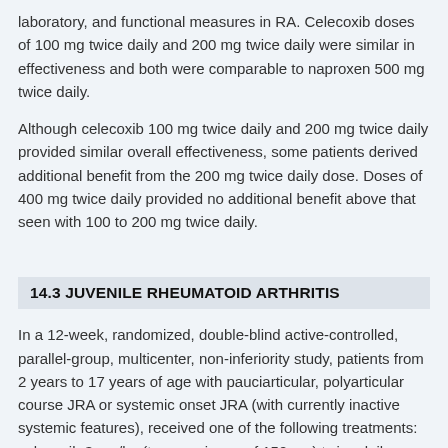laboratory, and functional measures in RA. Celecoxib doses of 100 mg twice daily and 200 mg twice daily were similar in effectiveness and both were comparable to naproxen 500 mg twice daily.
Although celecoxib 100 mg twice daily and 200 mg twice daily provided similar overall effectiveness, some patients derived additional benefit from the 200 mg twice daily dose. Doses of 400 mg twice daily provided no additional benefit above that seen with 100 to 200 mg twice daily.
14.3 JUVENILE RHEUMATOID ARTHRITIS
In a 12-week, randomized, double-blind active-controlled, parallel-group, multicenter, non-inferiority study, patients from 2 years to 17 years of age with pauciarticular, polyarticular course JRA or systemic onset JRA (with currently inactive systemic features), received one of the following treatments: celecoxib 3 mg/kg (to a maximum of 150 mg) twice daily; celecoxib 6 mg/kg (to a maximum of 300 mg) twice daily; naproxen 7.5 mg/kg (to a